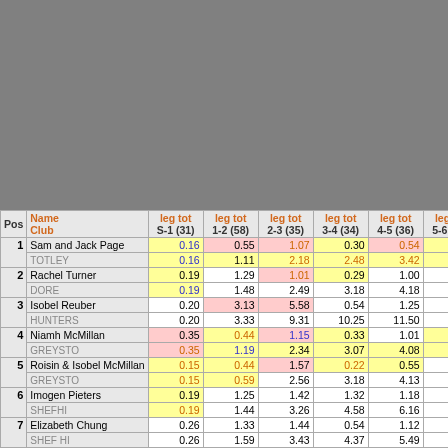| Pos | Name / Club | leg tot S-1 (31) | leg tot 1-2 (58) | leg tot 2-3 (35) | leg tot 3-4 (34) | leg tot 4-5 (36) | leg tot 5-6 (42) | leg 6-7... |
| --- | --- | --- | --- | --- | --- | --- | --- | --- |
| 1 | Sam and Jack Page / TOTLEY | 0.16 / 0.16 | 0.55 / 1.11 | 1.07 / 2.18 | 0.30 / 2.48 | 0.54 / 3.42 | 0.36 / 4.18 | ... |
| 2 | Rachel Turner / DORE | 0.19 / 0.19 | 1.29 / 1.48 | 1.01 / 2.49 | 0.29 / 3.18 | 1.00 / 4.18 | 0.47 / 5.05 | ... |
| 3 | Isobel Reuber / HUNTERS | 0.20 / 0.20 | 3.13 / 3.33 | 5.58 / 9.31 | 0.54 / 10.25 | 1.25 / 11.50 | 0.53 / 12.43 | 1... |
| 4 | Niamh McMillan / GREYSTO | 0.35 / 0.35 | 0.44 / 1.19 | 1.15 / 2.34 | 0.33 / 3.07 | 1.01 / 4.08 | 0.41 / 4.49 | ... |
| 5 | Roisin & Isobel McMillan / GREYSTO | 0.15 / 0.15 | 0.44 / 0.59 | 1.57 / 2.56 | 0.22 / 3.18 | 0.55 / 4.13 | 0.46 / 4.59 | ... |
| 6 | Imogen Pieters / SHEFHI | 0.19 / 0.19 | 1.25 / 1.44 | 1.42 / 3.26 | 1.32 / 4.58 | 1.18 / 6.16 | 1.24 / 7.40 | 1... |
| 7 | Elizabeth Chung / SHEF HI | 0.26 / 0.26 | 1.33 / 1.59 | 1.44 / 3.43 | 0.54 / 4.37 | 1.12 / 5.49 | 0.59 / 6.48 | ... |